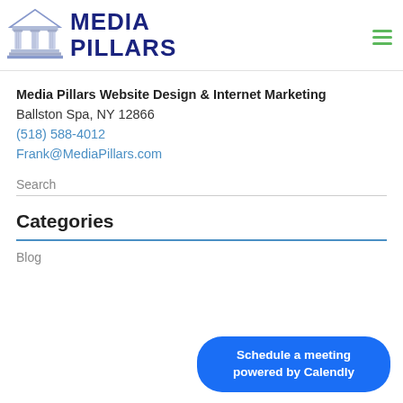[Figure (logo): Media Pillars logo with a Greek column building illustration in blue/grey and bold dark navy text reading MEDIA PILLARS]
Media Pillars Website Design & Internet Marketing
Ballston Spa, NY 12866
(518) 588-4012
Frank@MediaPillars.com
Search
Categories
Blog
Schedule a meeting
powered by Calendly